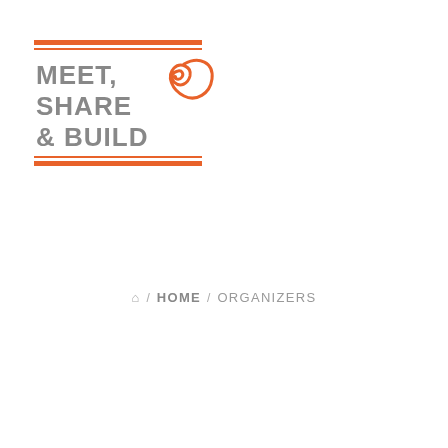[Figure (logo): Meet, Share & Build logo with orange decorative swirl and orange horizontal lines above and below the text]
⌂ / HOME / ORGANIZERS